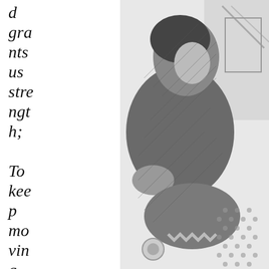d grants us strength; To keep moving on,
[Figure (illustration): A sketch-like black and white illustration of a person lying down, rendered in a pencil or charcoal style with hatching and shading details.]